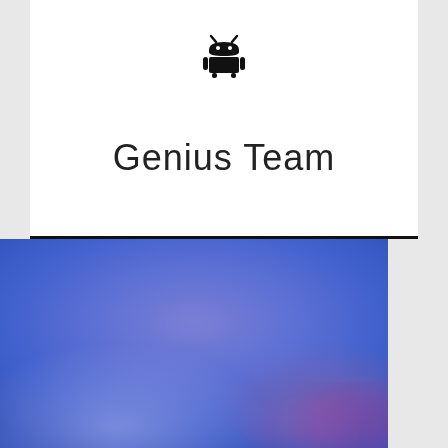[Figure (logo): Android robot logo icon in black]
Genius Team
[Figure (photo): Blurred blue and purple gradient background photo, lower half of the page]